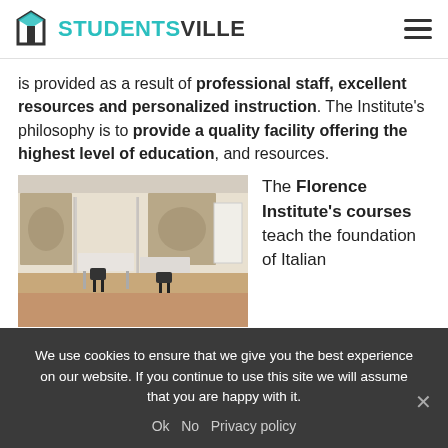STUDENTSVILLE
is provided as a result of professional staff, excellent resources and personalized instruction. The Institute's philosophy is to provide a quality facility offering the highest level of education, and resources.
[Figure (photo): Interior of a classroom or study room with white partitioned desks, black chairs, and large fresco paintings on the walls.]
The Florence Institute's courses teach the foundation of Italian
We use cookies to ensure that we give you the best experience on our website. If you continue to use this site we will assume that you are happy with it. Ok No Privacy policy